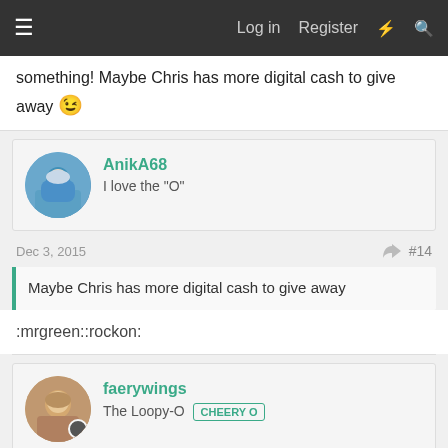≡  Log in  Register  ⚡ 🔍
something! Maybe Chris has more digital cash to give away 😉
AnikA68
I love the "O"
Dec 3, 2015    #14
Maybe Chris has more digital cash to give away
:mrgreen::rockon:
faerywings
The Loopy-O  CHEERY O
Dec 3, 2015    #15